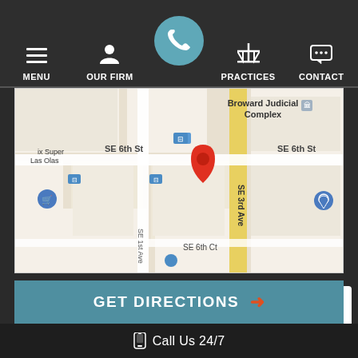MENU | OUR FIRM | PRACTICES | CONTACT
[Figure (map): Google Maps screenshot showing the area around 110 SE 6th St, Ft. Lauderdale, FL 33301, near the Broward Judicial Complex. A red location pin marks the office location on SE 6th St near SE 1st Ave. Street labels visible: SE 6th St, SE 3rd Ave, SE 1st Ave, SE 6th Ct, Broward Judicial Complex, ix Super Las Olas.]
110 SE 6th St Suite 1749
Ft. Lauderdale, FL 33301
GET DIRECTIONS →
Call Us 24/7